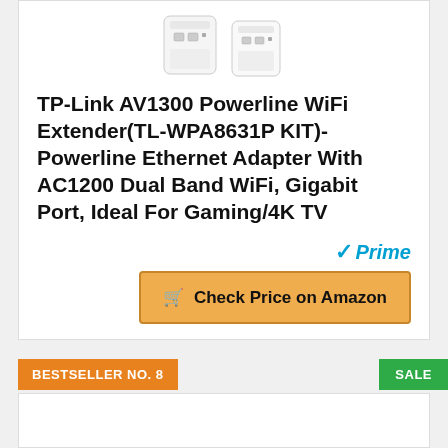[Figure (photo): Product image of TP-Link AV1300 Powerline WiFi Extender devices, showing two white adapter units, partially cropped at top]
TP-Link AV1300 Powerline WiFi Extender(TL-WPA8631P KIT)- Powerline Ethernet Adapter With AC1200 Dual Band WiFi, Gigabit Port, Ideal For Gaming/4K TV
Prime
Check Price on Amazon
BESTSELLER NO. 8
SALE